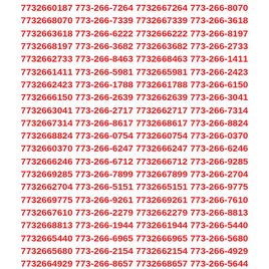7732660187 773-266-7264 7732667264 773-266-8070 7732668070 773-266-7339 7732667339 773-266-3618 7732663618 773-266-6222 7732666222 773-266-8197 7732668197 773-266-3682 7732663682 773-266-2733 7732662733 773-266-8463 7732668463 773-266-1411 7732661411 773-266-5981 7732665981 773-266-2423 7732662423 773-266-1788 7732661788 773-266-6150 7732666150 773-266-2639 7732662639 773-266-3041 7732663041 773-266-2717 7732662717 773-266-7314 7732667314 773-266-8617 7732668617 773-266-8824 7732668824 773-266-0754 7732660754 773-266-0370 7732660370 773-266-6247 7732666247 773-266-6246 7732666246 773-266-6712 7732666712 773-266-9285 7732669285 773-266-7899 7732667899 773-266-2704 7732662704 773-266-5151 7732665151 773-266-9775 7732669775 773-266-9261 7732669261 773-266-7610 7732667610 773-266-2279 7732662279 773-266-8813 7732668813 773-266-1944 7732661944 773-266-5440 7732665440 773-266-6965 7732666965 773-266-5680 7732665680 773-266-2154 7732662154 773-266-4929 7732664929 773-266-8657 7732668657 773-266-5644 7732665644 773-266-1440 7732661440 773-266-1008 7732661008 773-266-2667 7732662667 773-266-9952 7732669952 773-266-4099 7732664099 773-266-1338 7732661338 773-266-9009 7732669009 773-266-9828